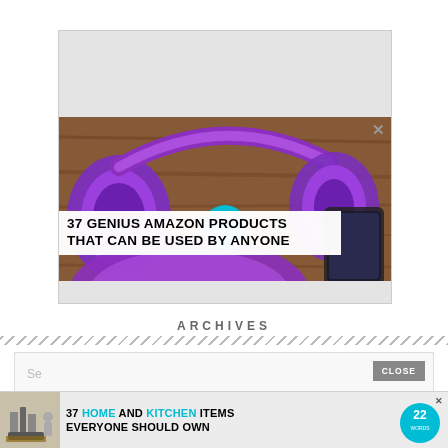[Figure (screenshot): Advertisement banner showing purple headphones on a wooden surface with a circular '22 Words' logo. White overlay text reads: 37 GENIUS AMAZON PRODUCTS THAT CAN BE USED BY ANYONE. An X close button is visible top-right.]
ARCHIVES
[Figure (screenshot): Dropdown select UI element with a grey 'CLOSE' button on the right side.]
[Figure (screenshot): Bottom advertisement banner with kitchen items image and text: 37 HOME AND KITCHEN ITEMS EVERYONE SHOULD OWN, with 22 Words circular logo and an X close button.]